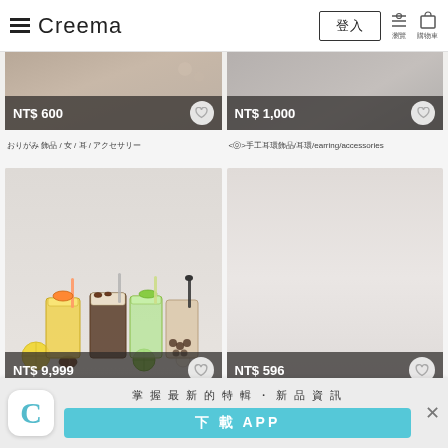Creema
[Figure (screenshot): Product listing top-left: item partially shown, price NT$ 600]
[Figure (screenshot): Product listing top-right: item partially shown, price NT$ 1,000]
商品名称 / 女 / 耳環飾品
<⓪>耳環飾品手工飾品/耳環/earring/accessories
[Figure (photo): Product listing: bubble tea / drinks miniature charms, price NT$ 9,999]
[Figure (photo): Product listing: phone case or accessory, price NT$ 596]
飲料杯-手機殼吊飾
對應機型包括 iPhone Android Galaxy AQUOS 等 手機殼
掌握最新的特輯・新品資訊
下載 APP